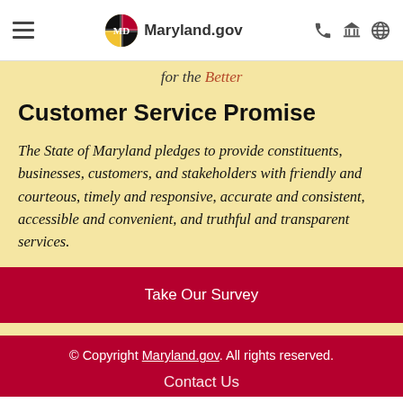Maryland.gov navigation bar
for the Better
Customer Service Promise
The State of Maryland pledges to provide constituents, businesses, customers, and stakeholders with friendly and courteous, timely and responsive, accurate and consistent, accessible and convenient, and truthful and transparent services.
Take Our Survey
© Copyright Maryland.gov. All rights reserved.
Contact Us